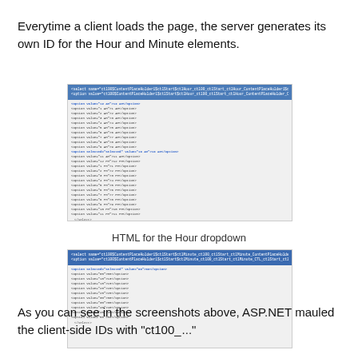Everytime a client loads the page, the server generates its own ID for the Hour and Minute elements.
[Figure (screenshot): Screenshot of HTML source code for the Hour dropdown, showing select element with options for AM/PM hours, with long generated IDs in blue highlighted header]
HTML for the Hour dropdown
[Figure (screenshot): Screenshot of HTML source code for the Minute dropdown, showing select element with options for minutes, with long generated IDs in blue highlighted header]
HTML for the Minute dropdown
As you can see in the screenshots above, ASP.NET mauled the client-side IDs with "ct100_..."